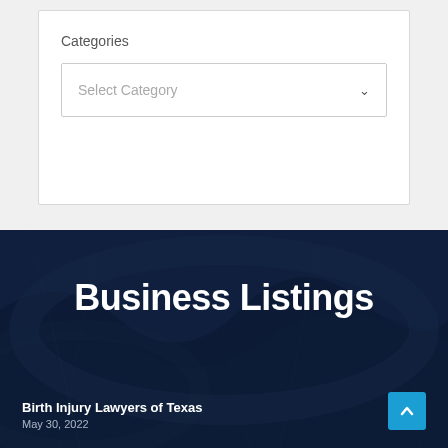Categories
[Figure (screenshot): A dropdown select box with placeholder text 'Select Category' and a chevron arrow on the right]
Business Listings
Birth Injury Lawyers of Texas
May 30, 2022